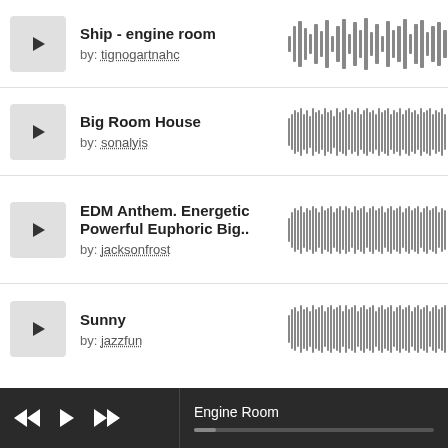Ship - engine room by: tignogartnahc
[Figure (other): Audio waveform for Ship - engine room track, showing sparse spiky waveform pattern]
Big Room House by: sonalyis
[Figure (other): Audio waveform for Big Room House track, dense full waveform]
EDM Anthem. Energetic Powerful Euphoric Big.. by: jacksonfrost
[Figure (other): Audio waveform for EDM Anthem track, dense full waveform]
Sunny by: jazzfun
[Figure (other): Audio waveform for Sunny track, dense waveform]
Engine Room [player bar with rewind, play, fast-forward controls and progress bar]